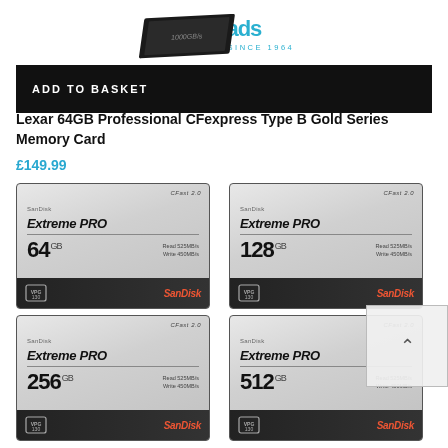[Figure (logo): MrCad / company logo at top with 'FAMILY RUN SINCE 1984' tagline]
ADD TO BASKET
Lexar 64GB Professional CFexpress Type B Gold Series Memory Card
£149.99
[Figure (photo): SanDisk Extreme PRO CFast 2.0 64GB memory card - Read 525MB/s Write 450MB/s]
[Figure (photo): SanDisk Extreme PRO CFast 2.0 128GB memory card - Read 525MB/s Write 450MB/s]
[Figure (photo): SanDisk Extreme PRO CFast 2.0 256GB memory card - Read 525MB/s Write 450MB/s]
[Figure (photo): SanDisk Extreme PRO CFast 2.0 512GB memory card - Read 525MB/s Write 450MB/s]